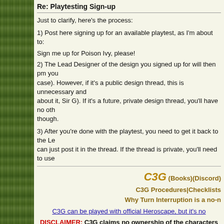Re: Playtesting Sign-up
Just to clarify, here's the process:
1) Post here signing up for an available playtest, as I'm about to:
Sign me up for Poison Ivy, please!
2) The Lead Designer of the design you signed up for will then pm you (in Poison Ivy's case). However, if it's a public design thread, this is unnecessary and (don't worry about it, Sir G). If it's a future, private design thread, you'll have no other choice though.
3) After you're done with the playtest, you need to get it back to the Lead Designer. You can just post it in the thread. If the thread is private, you'll need to use
C3G (Books)(Discord)
C3G Procedures|Checklists
Why Turn Interruption is a no-n
C3G can be played with official Heroscape, but it's no
DISCLAIMER: C3G claims no ownership of the characters or a rights for the characters belong to their respective publishers/c for sale, and C3G does not authorize any party to
[Figure (photo): Bottom image strip showing comic/game characters]